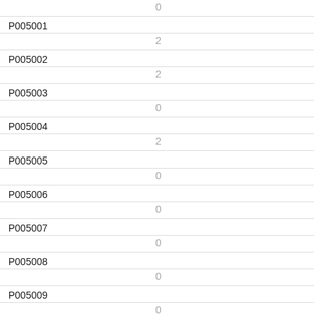| ID | Value |
| --- | --- |
|  | 0 |
| P005001 | 2 |
| P005002 | 2 |
| P005003 | 0 |
| P005004 | 2 |
| P005005 | 0 |
| P005006 | 0 |
| P005007 | 0 |
| P005008 | 0 |
| P005009 | 0 |
| P005010 | 0 |